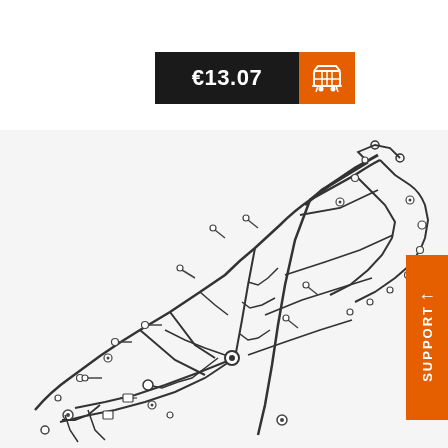€13.07
[Figure (engineering-diagram): Technical exploded-view line drawing of a motorcycle frame/chassis assembly, showing tubular frame structure with numbered fasteners, bolts, brackets, and attachment points scattered around the central frame tube structure, viewed from an isometric angle.]